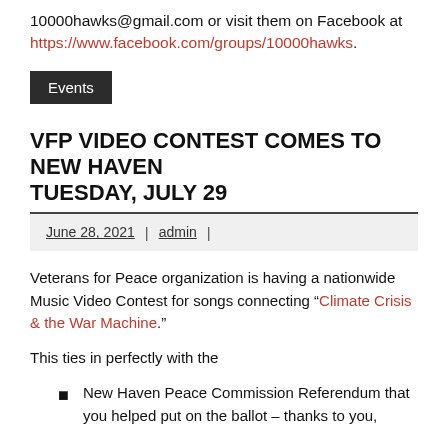10000hawks@gmail.com or visit them on Facebook at https://www.facebook.com/groups/10000hawks.
Events
VFP VIDEO CONTEST COMES TO NEW HAVEN TUESDAY, JULY 29
June 28, 2021 | admin |
Veterans for Peace organization is having a nationwide Music Video Contest for songs connecting “Climate Crisis & the War Machine.”
This ties in perfectly with the
New Haven Peace Commission Referendum that you helped put on the ballot – thanks to you,